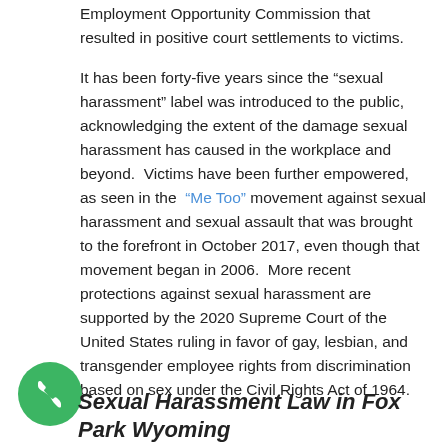Employment Opportunity Commission that resulted in positive court settlements to victims.
It has been forty-five years since the “sexual harassment” label was introduced to the public, acknowledging the extent of the damage sexual harassment has caused in the workplace and beyond.  Victims have been further empowered, as seen in the “Me Too” movement against sexual harassment and sexual assault that was brought to the forefront in October 2017, even though that movement began in 2006.  More recent protections against sexual harassment are supported by the 2020 Supreme Court of the United States ruling in favor of gay, lesbian, and transgender employee rights from discrimination based on sex under the Civil Rights Act of 1964.
[Figure (other): Green circle phone icon]
Sexual Harassment Law in Fox Park Wyoming